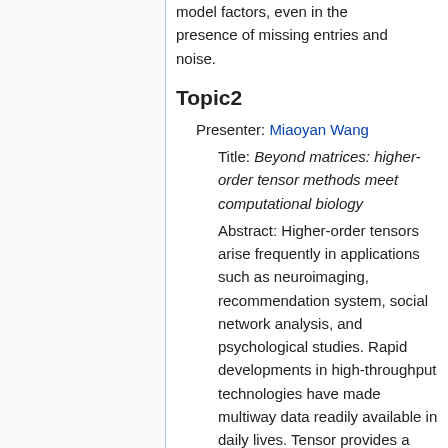model factors, even in the presence of missing entries and noise.
Topic2
Presenter: Miaoyan Wang
Title: Beyond matrices: higher-order tensor methods meet computational biology
Abstract: Higher-order tensors arise frequently in applications such as neuroimaging, recommendation system, social network analysis, and psychological studies. Rapid developments in high-throughput technologies have made multiway data readily available in daily lives. Tensor provides a generalized data structure in